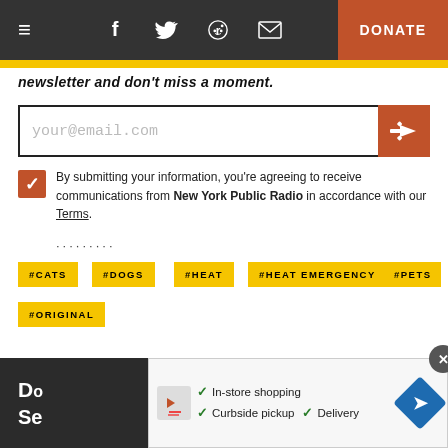Navigation bar with hamburger menu, social icons (Facebook, Twitter, Reddit, Email), and DONATE button
newsletter and don't miss a moment.
your@email.com (email input field with submit button)
By submitting your information, you're agreeing to receive communications from New York Public Radio in accordance with our Terms.
#CATS
#DOGS
#HEAT
#HEAT EMERGENCY
#PETS
#ORIGINAL
Do... or Se... (dark card partial text visible)
Ad overlay: In-store shopping, Curbside pickup, Delivery (with map direction icon)